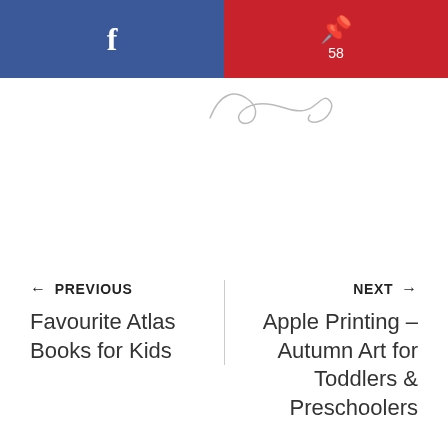[Figure (other): Social share bar with Facebook button on the left (blue) and Pinterest button with count 58 on the right (red)]
[Figure (illustration): Handwritten cursive signature or logo text in light gray]
← PREVIOUS
Favourite Atlas Books for Kids
NEXT →
Apple Printing – Autumn Art for Toddlers & Preschoolers